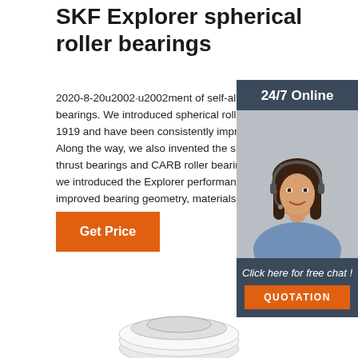SKF Explorer spherical roller bearings
2020-8-20u2002·u2002ment of self-aligning bearings. We introduced spherical roller bearings in 1919 and have been consistently improving them. Along the way, we also invented the spherical roller thrust bearings and CARB roller bearings. In 1999, we introduced the Explorer performance class with improved bearing geometry, materials and
[Figure (photo): Customer service representative with headset, overlaid on dark blue-grey widget. Header reads '24/7 Online', footer reads 'Click here for free chat!' with orange QUOTATION button.]
Get Price
[Figure (photo): Partial view of a spherical roller bearing (white/grey) at the bottom of the page.]